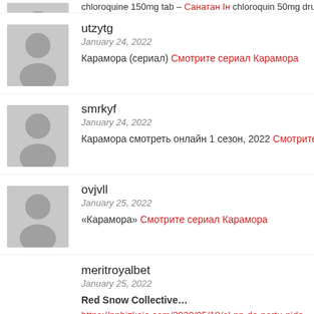[Figure (photo): Cropped avatar placeholder at top]
chloroquine 150mg tab… Санатан Ін chloroquin 50mg drug
[Figure (photo): Avatar placeholder for utzytg]
utzytg
January 24, 2022
Карамора (сериал) Смотрите сериал Карамора
[Figure (photo): Avatar placeholder for smrkyf]
smrkyf
January 24, 2022
Карамора смотреть онлайн 1 сезон, 2022 Смотрите сериал К
[Figure (photo): Avatar placeholder for ovjvll]
ovjvll
January 25, 2022
«Карамора» Смотрите сериал Карамора
meritroyalbet
January 25, 2022
Red Snow Collective…
https://ppbizkaia.com/2020/05/18/el-pp-de-portu-pide-que-en-las